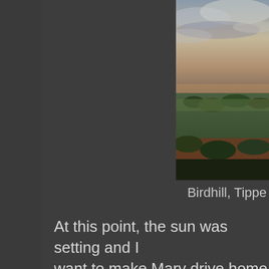[Figure (photo): Landscape photograph taken from an elevated viewpoint at dusk showing rolling countryside with fields, scattered trees, and a cloudy sky with fading light]
Birdhill, Tippe
At this point, the sun was setting and I want to make Mary drive home in the thoughtfulness.  Turns out I didn't learn house, all excited about my new disco